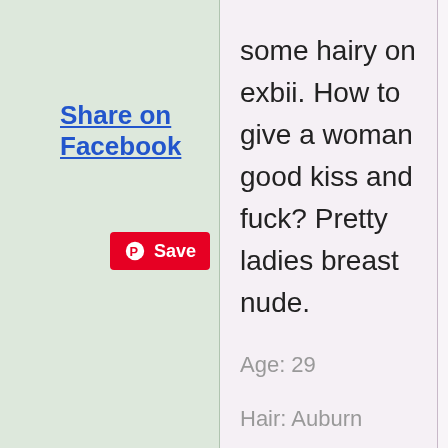Share on Facebook
Save
some hairy on exbii. How to give a woman good kiss and fuck? Pretty ladies breast nude.
Age: 29
Hair: Auburn
Name: Kevinapkp
Status: Divorced
White Gro... girlsex. Be... year old n... girls nude
Louisiana
Age: 56
Hair: Re...
Name: Ta...